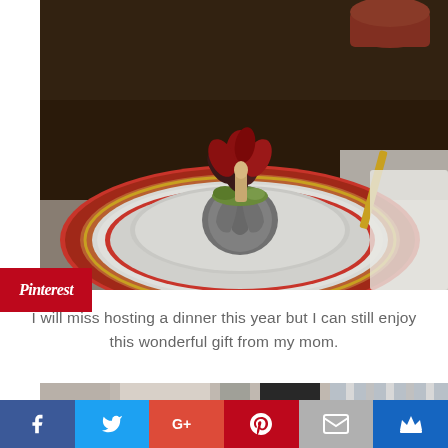[Figure (photo): Close-up of an elegant holiday table setting with stacked decorative plates featuring red geometric patterns and gold trim, with a decorative silver pumpkin centerpiece topped with green moss and dark red/maroon leaf decorations. A Pinterest badge overlay appears on the left side of the image.]
I will miss hosting a dinner this year but I can still enjoy this wonderful gift from my mom.
[Figure (photo): Partial view of another room interior photo at the bottom of the page.]
[Figure (infographic): Social media sharing bar at the bottom with buttons for Facebook (f), Twitter (bird), Google+ (G+), Pinterest (P), Email (envelope), and a crown icon. Colors: Facebook blue, Twitter blue, Google+ red, Pinterest red, Email gray, Crown dark blue.]